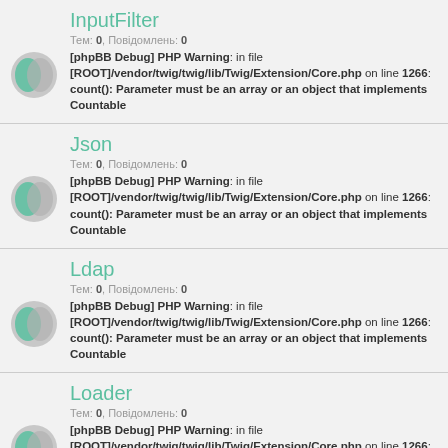InputFilter
Тем: 0, Повідомлень: 0
[phpBB Debug] PHP Warning: in file [ROOT]/vendor/twig/twig/lib/Twig/Extension/Core.php on line 1266: count(): Parameter must be an array or an object that implements Countable
Json
Тем: 0, Повідомлень: 0
[phpBB Debug] PHP Warning: in file [ROOT]/vendor/twig/twig/lib/Twig/Extension/Core.php on line 1266: count(): Parameter must be an array or an object that implements Countable
Ldap
Тем: 0, Повідомлень: 0
[phpBB Debug] PHP Warning: in file [ROOT]/vendor/twig/twig/lib/Twig/Extension/Core.php on line 1266: count(): Parameter must be an array or an object that implements Countable
Loader
Тем: 0, Повідомлень: 0
[phpBB Debug] PHP Warning: in file [ROOT]/vendor/twig/twig/lib/Twig/Extension/Core.php on line 1266: count(): Parameter must be an array or an object that implements